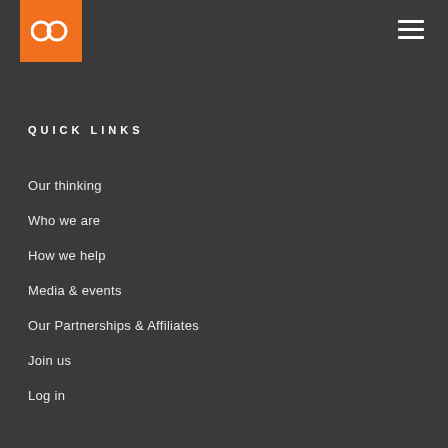bd logo and navigation menu
QUICK LINKS
Our thinking
Who we are
How we help
Media & events
Our Partnerships & Affiliates
Join us
Log in